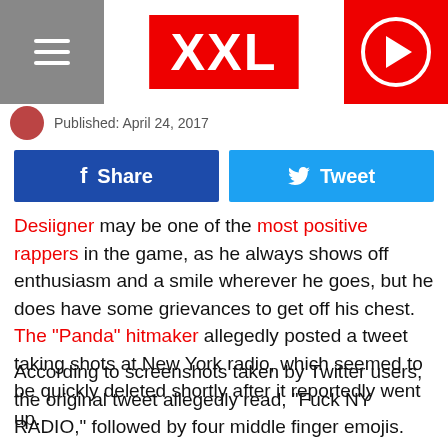XXL
Published: April 24, 2017
Share | Tweet
Desiigner may be one of the most positive rappers in the game, as he always shows off enthusiasm and a smile wherever he goes, but he does have some grievances to get off his chest. The "Panda" hitmaker allegedly posted a tweet taking shots at New York radio, which seemed to be quickly deleted shortly after it reportedly went up.
According to screenshots taken by Twitter users, the original tweet allegedly read, "Fuck NY RADIO," followed by four middle finger emojis. His timeline no longer displays the statement, or any follow up to tweets in response, but fans